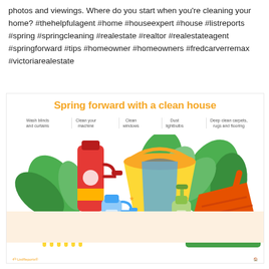photos and viewings. Where do you start when you're cleaning your home? #thehelpfulagent #home #houseexpert #house #listreports #spring #springcleaning #realestate #realtor #realestateagent #springforward #tips #homeowner #homeowners #fredcarverremax #victoriarealestate
[Figure (infographic): Spring cleaning infographic titled 'Spring forward with a clean house' with five tips: Wash blinds and curtains, Clean your machine, Clean windows, Dust lightbulbs, Deep clean carpets rugs and flooring. Features flat-style illustration of cleaning supplies including bottles, bucket, brush, dustpan. Branded with ListReports logo.]